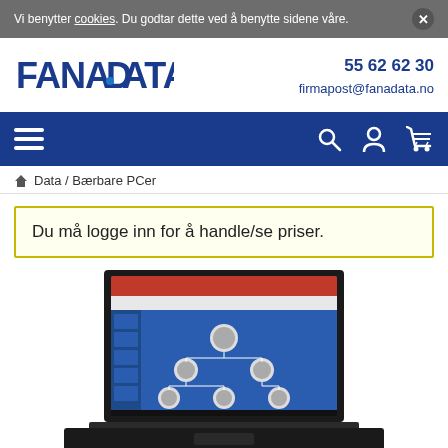Vi benytter cookies. Du godtar dette ved å benytte sidene våre.
[Figure (logo): Fana Data logo with stylized D in blue]
55 62 62 30
firmapost@fanadata.no
[Figure (screenshot): Navigation bar with hamburger menu, search icon, user icon, and cart icon on dark blue background]
Data / Bærbare PCer
Du må logge inn for å handle/se priser.
[Figure (photo): Laptop computer showing a PowerPoint presentation with an organizational chart on a blue background]